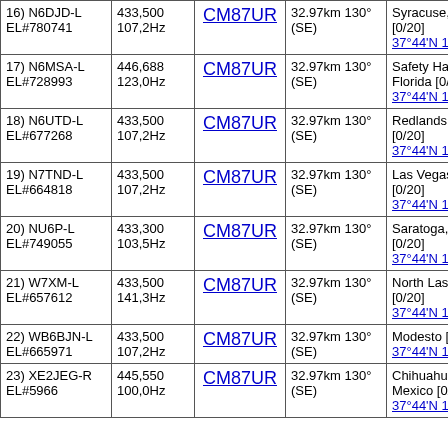| Callsign/EL# | Freq/Tone | Grid | Distance/Dir | Location/Coords |
| --- | --- | --- | --- | --- |
| 16) N6DJD-L EL#780741 | 433,500 107,2Hz | CM87UR | 32.97km 130° (SE) | Syracuse, UT [0/20] 37°44'N 122°17'W |
| 17) N6MSA-L EL#728993 | 446,688 123,0Hz | CM87UR | 32.97km 130° (SE) | Safety Harbor, Florida [0/2 37°44'N 122°17'W |
| 18) N6UTD-L EL#677268 | 433,500 107,2Hz | CM87UR | 32.97km 130° (SE) | Redlands CA [0/20] 37°44'N 122°17'W |
| 19) N7TND-L EL#664818 | 433,500 107,2Hz | CM87UR | 32.97km 130° (SE) | Las Vegas NV [0/20] 37°44'N 122°17'W |
| 20) NU6P-L EL#749055 | 433,300 103,5Hz | CM87UR | 32.97km 130° (SE) | Saratoga, Ca [0/20] 37°44'N 122°17'W |
| 21) W7XM-L EL#657612 | 433,500 141,3Hz | CM87UR | 32.97km 130° (SE) | North Las Vegas [0/20] 37°44'N 122°17'W |
| 22) WB6BJN-L EL#665971 | 433,500 107,2Hz | CM87UR | 32.97km 130° (SE) | Modesto [0/20] 37°44'N 122°17'W |
| 23) XE2JEG-R EL#5966 | 445,550 100,0Hz | CM87UR | 32.97km 130° (SE) | Chihuahua, Mexico [0/20] 37°44'N 122°17'W |